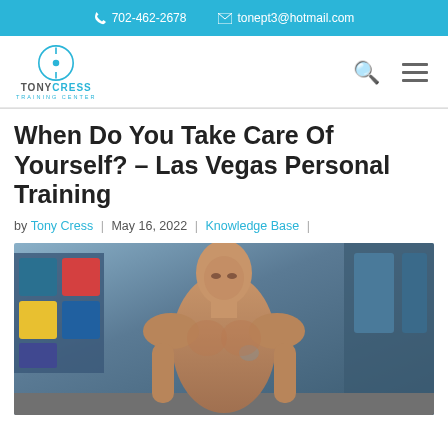702-462-2678  tonept3@hotmail.com
[Figure (logo): Tony Cress Training Center logo with circular T icon]
When Do You Take Care Of Yourself? – Las Vegas Personal Training
by Tony Cress | May 16, 2022 | Knowledge Base |
[Figure (photo): Muscular bald man in a gym setting, shirtless, looking down]